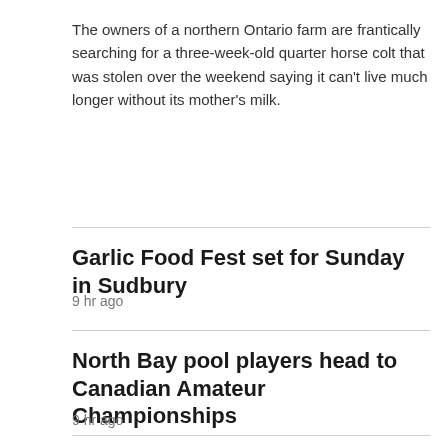The owners of a northern Ontario farm are frantically searching for a three-week-old quarter horse colt that was stolen over the weekend saying it can't live much longer without its mother's milk.
Garlic Food Fest set for Sunday in Sudbury
9 hr ago
North Bay pool players head to Canadian Amateur Championships
9 hr ago
EDMONTON
[Figure (photo): Partial photo visible at bottom of page, appears to show dots/spots on a light background with a darker vertical element on the right side]